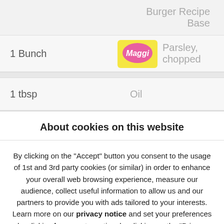| Quantity | Ingredient |
| --- | --- |
|  | Burger Recipe Base |
| 1 Bunch | Parsley, chopped |
| 1 tbsp | Oil |
About cookies on this website
By clicking on the "Accept" button you consent to the usage of 1st and 3rd party cookies (or similar) in order to enhance your overall web browsing experience, measure our audience, collect useful information to allow us and our partners to provide you with ads tailored to your interests. Learn more on our privacy notice and set your preferences by clicking here or at any time by clicking on the "Privacy settings" link on our website.
Accept